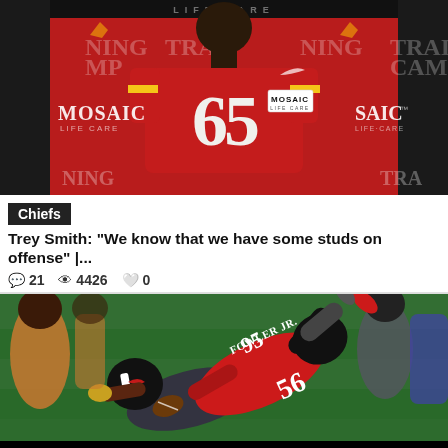[Figure (photo): Kansas City Chiefs player #65 Trey Smith at training camp, wearing red jersey in front of Mosaic Life Care backdrop]
Chiefs
Trey Smith: "We know that we have some studs on offense" |...
21  4426  0
[Figure (photo): NFL player Dante Fowler Jr. #56 in Atlanta Falcons red jersey making a tackle on the field, with HE'S BAAACK text overlay at bottom]